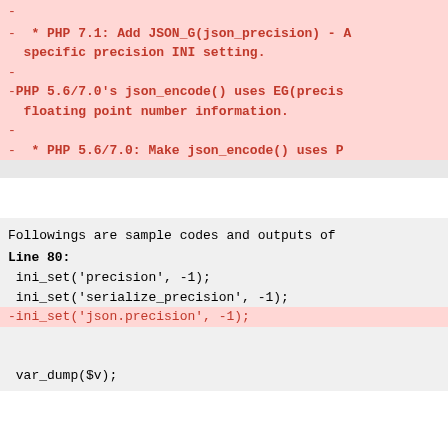-
-   * PHP 7.1: Add JSON_G(json_precision) - A specific precision INI setting.
-
-PHP 5.6/7.0's json_encode() uses EG(precis... floating point number information.
-
-   * PHP 5.6/7.0: Make json_encode() uses P...
Followings are sample codes and outputs of Line 80:
ini_set('precision', -1);
ini_set('serialize_precision', -1);
-ini_set('json.precision', -1);

var_dump($v);